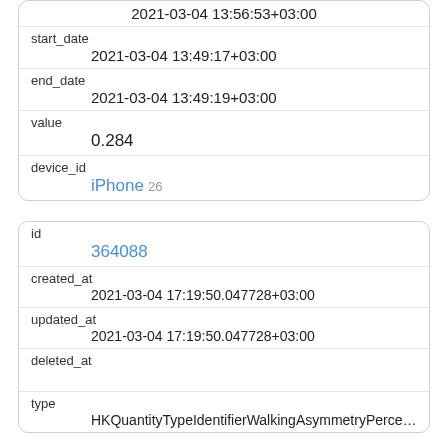|  | 2021-03-04 13:56:53+03:00 |
| start_date | 2021-03-04 13:49:17+03:00 |
| end_date | 2021-03-04 13:49:19+03:00 |
| value | 0.284 |
| device_id | iPhone 26 |
| id | 364088 |
| created_at | 2021-03-04 17:19:50.047728+03:00 |
| updated_at | 2021-03-04 17:19:50.047728+03:00 |
| deleted_at |  |
| type | HKQuantityTypeIdentifierWalkingAsymmetryPercenta |